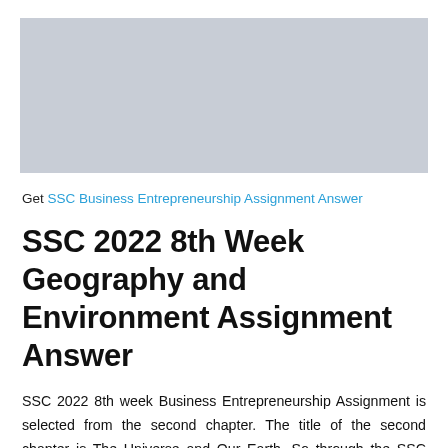[Figure (other): Gray advertisement placeholder box]
Get SSC Business Entrepreneurship Assignment Answer
SSC 2022 8th Week Geography and Environment Assignment Answer
SSC 2022 8th week Business Entrepreneurship Assignment is selected from the second chapter. The title of the second chapter is The Universe and Our Earth. So through the SSC 2022 8th week Business Entrepreneurship Assignment